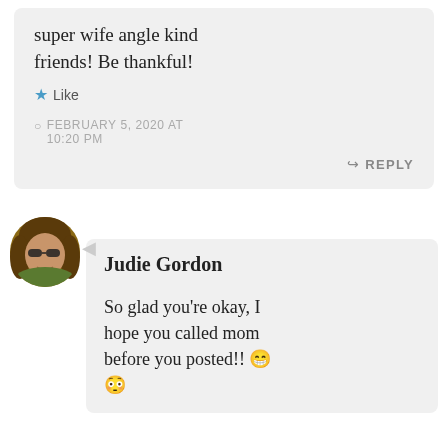super wife angle kind friends! Be thankful!
Like
FEBRUARY 5, 2020 AT 10:20 PM
REPLY
[Figure (photo): Circular avatar photo of a woman with brown hair and sunglasses, smiling outdoors]
Judie Gordon
So glad you're okay, I hope you called mom before you posted!! 😁 😳